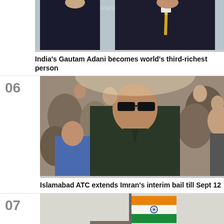[Figure (photo): Two men in business suits, one with a yellow tie, partial view of faces]
India's Gautam Adani becomes world's third-richest person
[Figure (photo): Man with dark sunglasses in a dark outfit surrounded by a crowd]
Islamabad ATC extends Imran's interim bail till Sept 12
[Figure (photo): Indian national flag flying against a hazy sky]